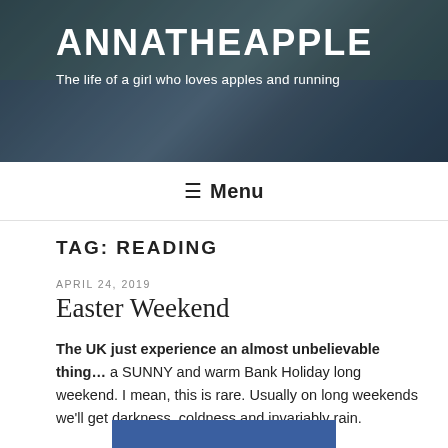[Figure (photo): Header photo of runners in a race, with people wearing race bibs including number 7421 and 'Anna' bib visible. Background shows trees.]
ANNATHEAPPLE
The life of a girl who loves apples and running
≡ Menu
TAG: READING
APRIL 24, 2019
Easter Weekend
The UK just experience an almost unbelievable thing… a SUNNY and warm Bank Holiday long weekend. I mean, this is rare. Usually on long weekends we'll get darkness, coldness and invariably rain.
[Figure (photo): Partial blue image visible at the bottom of the page]